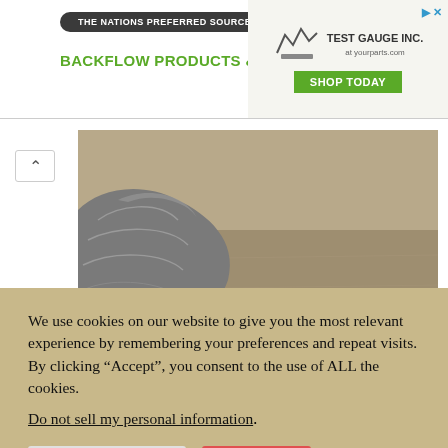[Figure (screenshot): Advertisement banner for Test Gauge Inc. featuring backflow products and services with green and dark styling and a Shop Today button]
[Figure (photo): Close-up photo of a weathered driftwood log on sandy beach]
The natural color palette so beautifully found along the sands and water's edge of the Gulf
We use cookies on our website to give you the most relevant experience by remembering your preferences and repeat visits. By clicking “Accept”, you consent to the use of ALL the cookies.
Do not sell my personal information.